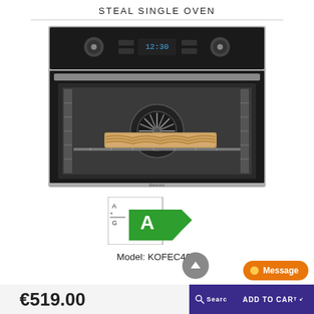STEAL SINGLE OVEN
[Figure (photo): Electrolux stainless steel and black built-in single oven with glass front open showing interior rack with a baked lasagne dish inside, fan visible at back, digital display showing 12:30]
[Figure (infographic): EU energy label showing rating A+G scale with 'A' highlighted in green]
Model: KOFEC40X
€519.00
ADD TO CART
Search
Message